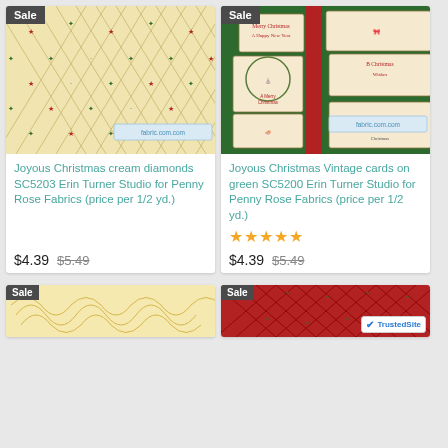[Figure (photo): Cream diamond lattice Christmas fabric with red and green stars, sale badge]
Joyous Christmas cream diamonds SC5203 Erin Turner Studio for Penny Rose Fabrics (price per 1/2 yd.)
$4.39  $5.49
[Figure (photo): Green fabric with vintage Christmas card panels, sale badge]
Joyous Christmas Vintage cards on green SC5200 Erin Turner Studio for Penny Rose Fabrics (price per 1/2 yd.)
★★★★★
$4.39  $5.49
[Figure (photo): Gold scrollwork Christmas fabric, sale badge, partial view]
[Figure (photo): Red diamond lattice Christmas fabric, sale badge, partial view with TrustedSite badge]